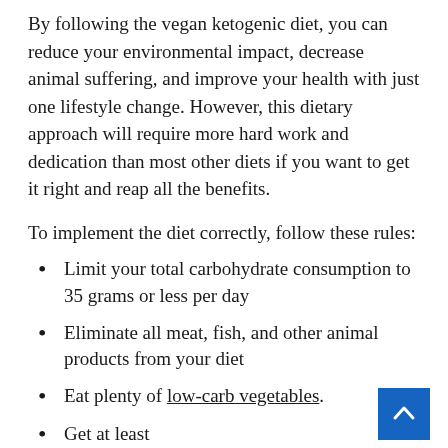By following the vegan ketogenic diet, you can reduce your environmental impact, decrease animal suffering, and improve your health with just one lifestyle change. However, this dietary approach will require more hard work and dedication than most other diets if you want to get it right and reap all the benefits.
To implement the diet correctly, follow these rules:
Limit your total carbohydrate consumption to 35 grams or less per day
Eliminate all meat, fish, and other animal products from your diet
Eat plenty of low-carb vegetables.
Get at least